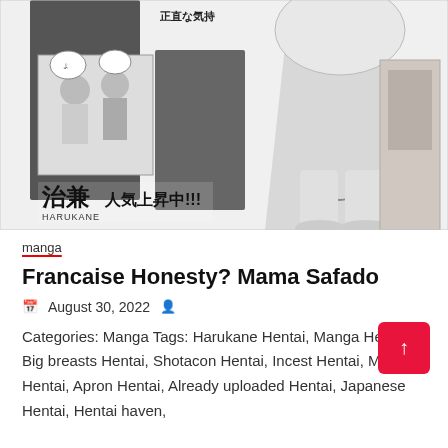[Figure (illustration): Black and white manga/hentai illustration showing characters, with Japanese text and 'HARUKANE' branding at bottom left, '人気上昇中!!!' text visible]
manga
Francaise Honesty? Mama Safado
August 30, 2022
Categories: Manga Tags: Harukane Hentai, Manga Hentai, Big breasts Hentai, Shotacon Hentai, Incest Hentai, Mother Hentai, Apron Hentai, Already uploaded Hentai, Japanese Hentai, Hentai haven,